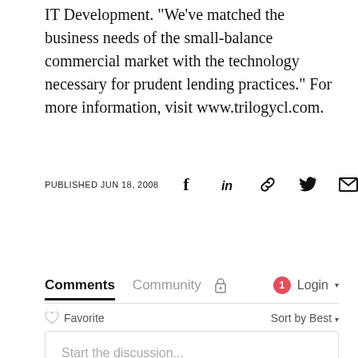IT Development. "We've matched the business needs of the small-balance commercial market with the technology necessary for prudent lending practices." For more information, visit www.trilogycl.com.
PUBLISHED JUN 18, 2008
Comments  Community  Login
Favorite  Sort by Best
Start the discussion...
LOG IN WITH